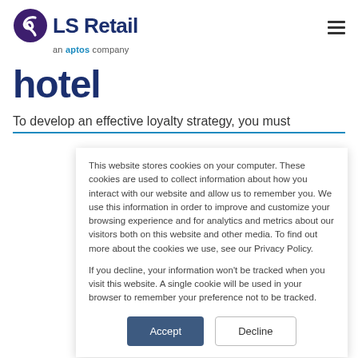[Figure (logo): LS Retail logo with circular S icon and tagline 'an aptos company']
hotel
To develop an effective loyalty strategy, you must
This website stores cookies on your computer. These cookies are used to collect information about how you interact with our website and allow us to remember you. We use this information in order to improve and customize your browsing experience and for analytics and metrics about our visitors both on this website and other media. To find out more about the cookies we use, see our Privacy Policy.

If you decline, your information won't be tracked when you visit this website. A single cookie will be used in your browser to remember your preference not to be tracked.